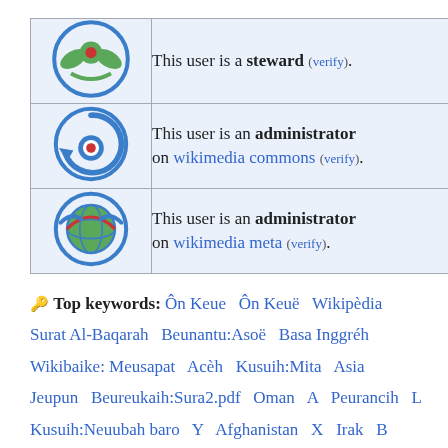| [steward icon] | This user is a steward (verify). |
| [commons admin icon] | This user is an administrator on wikimedia commons (verify). |
| [meta admin icon] | This user is an administrator on wikimedia meta (verify). |
🔑 Top keywords: Ôn Keue  Ôn Keuë  Wikipèdia  Surat Al-Baqarah  Beunantu:Asoë  Basa Inggréh  Wikibaike: Meusapat  Acèh  Kusuih:Mita  Asia  Jeupun  Beureukaih:Sura2.pdf  Oman  A  Peurancih  L  Kusuih:Neuubah baro  Y  Afghanistan  X  Irak  B  Wikibaike: Sandbox  Ukraina  Siprus  Denmark  Afrika  Kabupatën Pidië Jaya  Paris  Amirika Syarikat  K  T  Rusia  Komputer  Inggréh  La'ôt